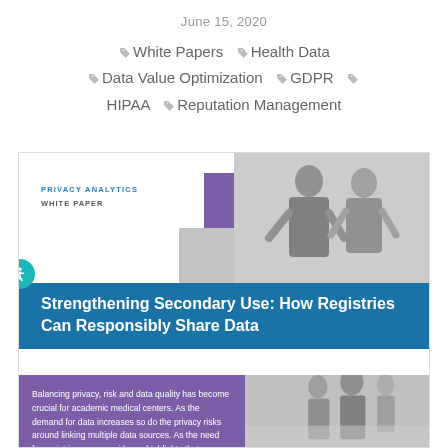June 15, 2020
White Papers  Health Data  Data Value Optimization  GDPR  HIPAA  Reputation Management
[Figure (illustration): White paper preview card for Privacy Analytics white paper titled 'Strengthening Secondary Use: How Registries Can Responsibly Share Data'. Card shows colored geometric squares (purple, grey, green), a photo of two men in conversation, a blue title band, a purple section with descriptive text, and a photo of people walking.]